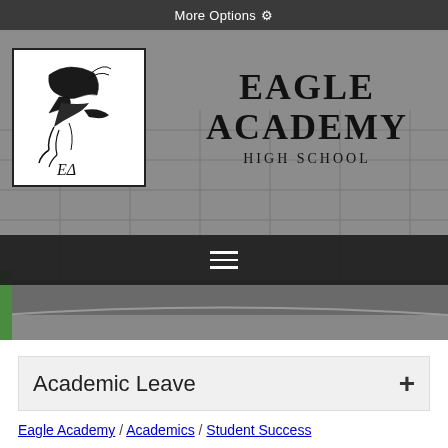More Options ⚙
[Figure (logo): Eagle Academy High School logo with eagle illustration and 'EA' text, black and white with yellow eye]
EAGLE ACADEMY HIGH SCHOOL
[Figure (screenshot): Hamburger menu icon (three horizontal white lines) on dark background navigation bar]
Academic Leave
Eagle Academy / Academics / Student Success